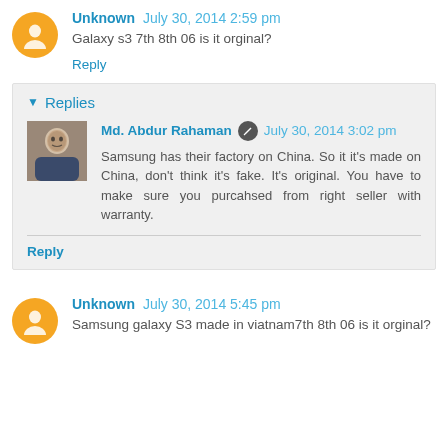Unknown July 30, 2014 2:59 pm
Galaxy s3 7th 8th 06 is it orginal?
Reply
Replies
Md. Abdur Rahaman July 30, 2014 3:02 pm
Samsung has their factory on China. So it it's made on China, don't think it's fake. It's original. You have to make sure you purcahsed from right seller with warranty.
Reply
Unknown July 30, 2014 5:45 pm
Samsung galaxy S3 made in viatnam7th 8th 06 is it orginal?